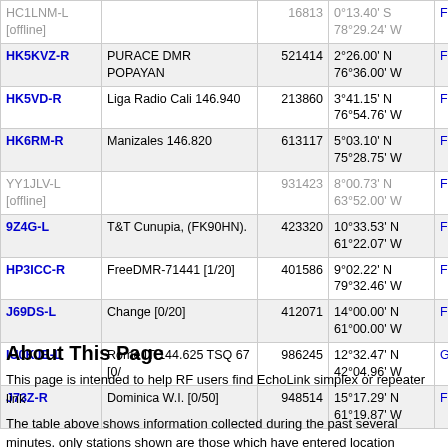| Callsign | Description | Node | Location | Grid | Dist |  |
| --- | --- | --- | --- | --- | --- | --- |
| HC1LNM-L [offline] |  | 16813 | 0°13.40' S 78°29.24' W | FI09ss | 2722.5 | 44 |
| HK5KVZ-R | PURACE DMR POPAYAN | 521414 | 2°26.00' N 76°36.00' W | FJ12qk | 2834.8 | 14 |
| HK5VD-R | Liga Radio Cali 146.940 | 213860 | 3°41.15' N 76°54.76' W | FJ13nq | 2923.0 | 14 |
| HK6RM-R | Manizales 146.820 | 613117 | 5°03.10' N 75°28.75' W | FJ25gb | 2974.0 | 14 |
| YY1JLV-L [offline] |  | 931423 | 8°00.73' N 63°52.00' W | FJ88ba | 2983.8 | 14 |
| 9Z4G-L | T&T Cunupia, (FK90HN). | 423320 | 10°33.53' N 61°22.07' W | FK90hn | 3144.4 | 43 |
| HP3ICC-R | FreeDMR-71441 [1/20] | 401586 | 9°02.22' N 79°32.46' W | FJ09fa | 3334.3 |  |
| J69DS-L | Change [0/20] | 412071 | 14°00.00' N 61°00.00' W | FK94ma | 3380.7 |  |
| IU0KJE-L | Rome IT 144.625 TSQ 67 [0/ | 986245 | 12°32.47' N 42°04.96' W | GK82xm | 3445.5 |  |
| J73Z-R | Dominica W.I. [0/50] | 948514 | 15°17.29' N 61°19.87' W | FK95ig | 3470.9 | 44 |
About This Page
This page is intended to help RF users find EchoLink simplex or repeater link
The table above shows information collected during the past several minutes. only stations shown are those which have entered location information on the